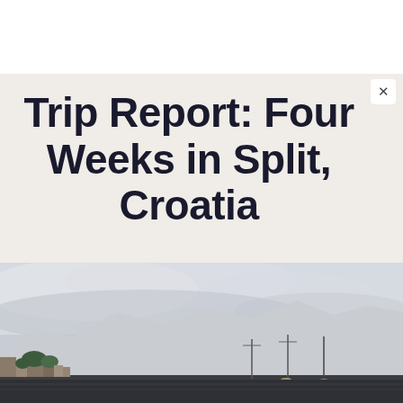Trip Report: Four Weeks in Split, Croatia
[Figure (photo): Coastal town of Split, Croatia at dusk. A harbour scene with boats in the foreground, buildings and trees along the waterfront, and a large mountain range in the background under a pale grey cloudy sky.]